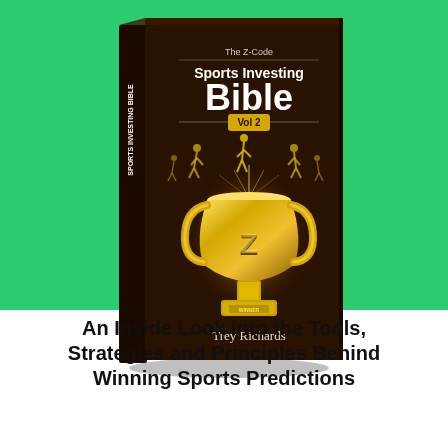[Figure (illustration): Book cover of 'The Z-Code Sports Investing Bible Vol 2' by Trey Richards. Dark brown cover featuring a glowing golden trophy with a 'Z' on it and athlete silhouettes above it. Title text on cover reads 'The Z-Code / Sports Investing / Bible / Vol 2'. Author name 'Trey Richards' at bottom of cover. Book displayed as 3D perspective with green background.]
An Inside Look Into the Tools, Strategies and Principles Behind Winning Sports Predictions